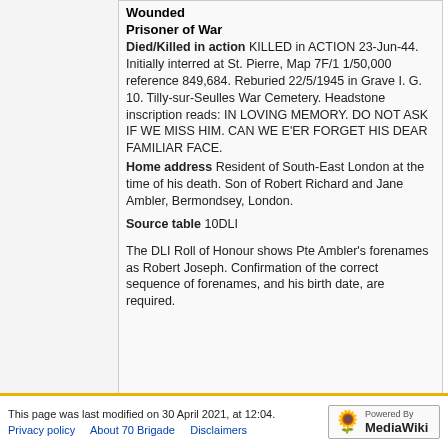Wounded
Prisoner of War
Died/Killed in action KILLED in ACTION 23-Jun-44. Initially interred at St. Pierre, Map 7F/1 1/50,000 reference 849,684. Reburied 22/5/1945 in Grave I. G. 10. Tilly-sur-Seulles War Cemetery. Headstone inscription reads: IN LOVING MEMORY. DO NOT ASK IF WE MISS HIM. CAN WE E'ER FORGET HIS DEAR FAMILIAR FACE.
Home address Resident of South-East London at the time of his death. Son of Robert Richard and Jane Ambler, Bermondsey, London.
Source table 10DLI
The DLI Roll of Honour shows Pte Ambler's forenames as Robert Joseph. Confirmation of the correct sequence of forenames, and his birth date, are required.
This page was last modified on 30 April 2021, at 12:04. Privacy policy  About 70 Brigade  Disclaimers  Powered by MediaWiki